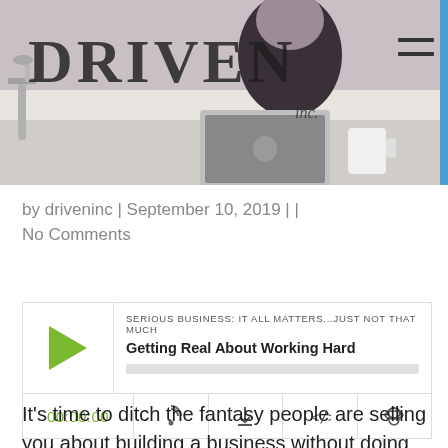[Figure (photo): Header photo showing a person working on a laptop with a mug, overlaid with DRIVEN inc. logo text and a hamburger menu icon on the right]
by driveninc | September 10, 2019 | |
No Comments
[Figure (other): Podcast player widget for episode 'Getting Real About Working Hard' from show 'SERIOUS BUSINESS: IT ALL MATTERS...JUST NOT THAT MUCH', with play button, progress bar, time display 00:00:00, and controls for subscribe, download, embed, and share.]
It's time to ditch the fantasy people are selling you about building a business without doing the hard work. No matter how smart